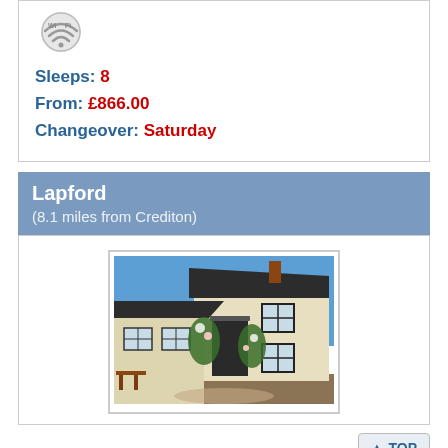[Figure (other): WiFi logo icon — grey circular badge with Wi-Fi signal waves and text Wi Fi]
Sleeps: 8
From: £866.00
Changeover: Saturday
Lapford
(8.1 miles from Crediton)
[Figure (photo): Photo of a cream-painted cottage with dark roof, climbing roses around a covered entrance, and white-framed sash windows under a blue sky]
TOP
Westgate Cottage